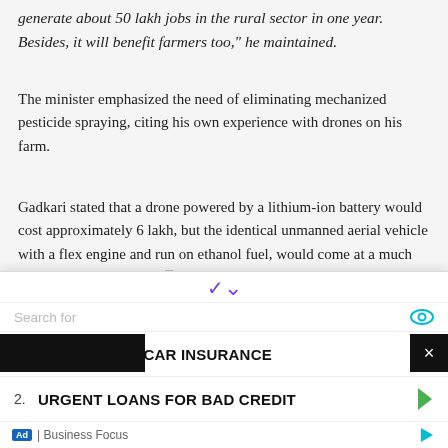generate about 50 lakh jobs in the rural sector in one year. Besides, it will benefit farmers too," he maintained.
The minister emphasized the need of eliminating mechanized pesticide spraying, citing his own experience with drones on his farm.
Gadkari stated that a drone powered by a lithium-ion battery would cost approximately 6 lakh, but the identical unmanned aerial vehicle with a flex engine and run on ethanol fuel, would come at a much cheaper price of around ₹ 1.5 lakh.
According to the Road Transport and Highways Minister, spraying pesticides from drones would require 'pilots' to operate them, which will provide a large number of job opportunities.
[Figure (screenshot): Advertisement overlay with search bar, showing two sponsored links: 1. GET INSTANT CAR INSURANCE and 2. URGENT LOANS FOR BAD CREDIT, with Business Focus branding at bottom.]